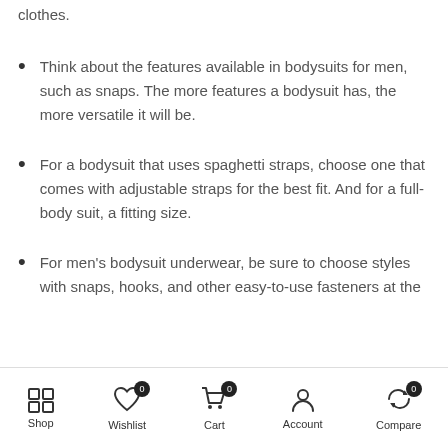clothes.
Think about the features available in bodysuits for men, such as snaps. The more features a bodysuit has, the more versatile it will be.
For a bodysuit that uses spaghetti straps, choose one that comes with adjustable straps for the best fit. And for a full-body suit, a fitting size.
For men's bodysuit underwear, be sure to choose styles with snaps, hooks, and other easy-to-use fasteners at the
Shop | Wishlist 0 | Cart 0 | Account | Compare 0